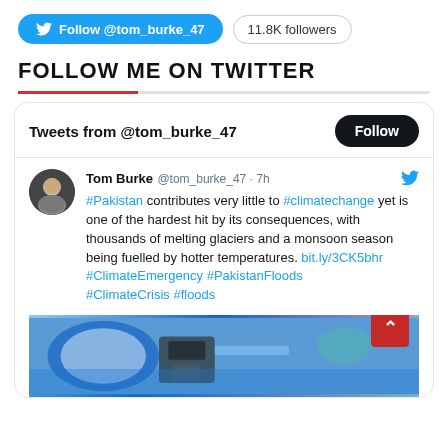[Figure (screenshot): Twitter Follow button for @tom_burke_47 with 11.8K followers badge]
FOLLOW ME ON TWITTER
[Figure (screenshot): Embedded Twitter widget showing tweets from @tom_burke_47. Tweet by Tom Burke @tom_burke_47 · 7h: #Pakistan contributes very little to #climatechange yet is one of the hardest hit by its consequences, with thousands of melting glaciers and a monsoon season being fuelled by hotter temperatures. bit.ly/3CK5bhr #ClimateEmergency #PakistanFloods #ClimateCrisis #floods. Followed by a partial image of a flood scene.]